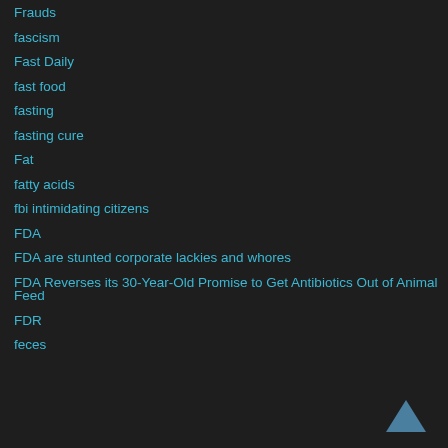Frauds
fascism
Fast Daily
fast food
fasting
fasting cure
Fat
fatty acids
fbi intimidating citizens
FDA
FDA are stunted corporate lackies and whores
FDA Reverses its 30-Year-Old Promise to Get Antibiotics Out of Animal Feed
FDR
feces